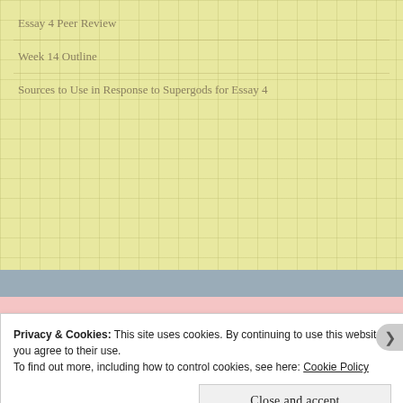Essay 4 Peer Review
Week 14 Outline
Sources to Use in Response to Supergods for Essay 4
Dr. Jonathan C Evans
jonevans@claflin.edu or
jonathan.c.evans1980@gmail.com
Privacy & Cookies: This site uses cookies. By continuing to use this website, you agree to their use.
To find out more, including how to control cookies, see here: Cookie Policy